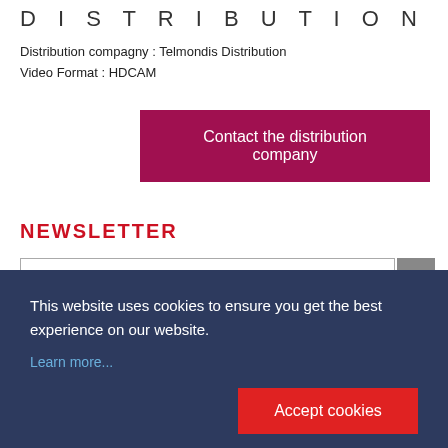DISTRIBUTION
Distribution compagny : Telmondis Distribution
Video Format : HDCAM
Contact the distribution company
NEWSLETTER
This website uses cookies to ensure you get the best experience on our website.
Learn more...
Accept cookies